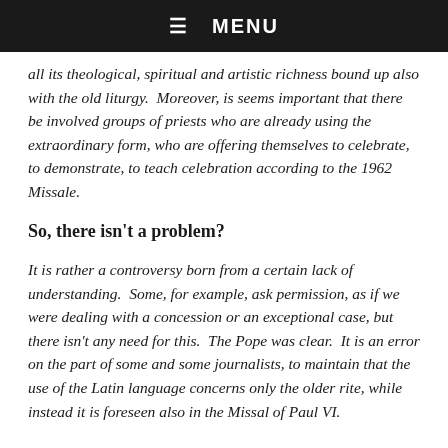☰  MENU
all its theological, spiritual and artistic richness bound up also with the old liturgy.  Moreover, is seems important that there be involved groups of priests who are already using the extraordinary form, who are offering themselves to celebrate, to demonstrate, to teach celebration according to the 1962 Missale.
So, there isn't a problem?
It is rather a controversy born from a certain lack of understanding.  Some, for example, ask permission, as if we were dealing with a concession or an exceptional case, but there isn't any need for this.  The Pope was clear.  It is an error on the part of some and some journalists, to maintain that the use of the Latin language concerns only the older rite, while instead it is foreseen also in the Missal of Paul VI.